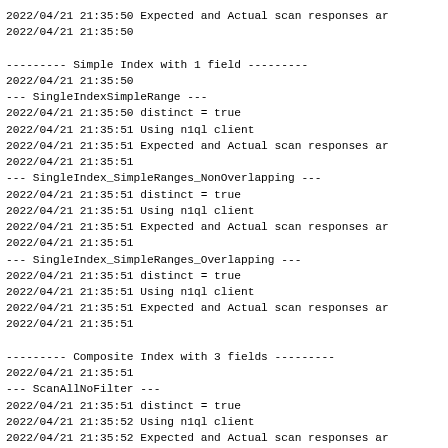2022/04/21 21:35:50 Expected and Actual scan responses ar
2022/04/21 21:35:50

--------- Simple Index with 1 field ---------
2022/04/21 21:35:50
--- SingleIndexSimpleRange ---
2022/04/21 21:35:50 distinct = true
2022/04/21 21:35:51 Using n1ql client
2022/04/21 21:35:51 Expected and Actual scan responses ar
2022/04/21 21:35:51
--- SingleIndex_SimpleRanges_NonOverlapping ---
2022/04/21 21:35:51 distinct = true
2022/04/21 21:35:51 Using n1ql client
2022/04/21 21:35:51 Expected and Actual scan responses ar
2022/04/21 21:35:51
--- SingleIndex_SimpleRanges_Overlapping ---
2022/04/21 21:35:51 distinct = true
2022/04/21 21:35:51 Using n1ql client
2022/04/21 21:35:51 Expected and Actual scan responses ar
2022/04/21 21:35:51

--------- Composite Index with 3 fields ---------
2022/04/21 21:35:51
--- ScanAllNoFilter ---
2022/04/21 21:35:51 distinct = true
2022/04/21 21:35:52 Using n1ql client
2022/04/21 21:35:52 Expected and Actual scan responses ar
2022/04/21 21:35:52
--- ScanAllFilterNil ---
2022/04/21 21:35:52 distinct = true